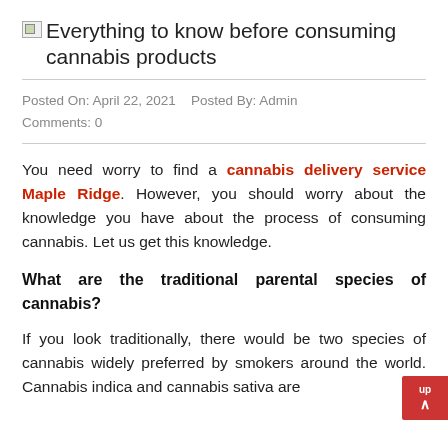Everything to know before consuming cannabis products
Posted On: April 22, 2021   Posted By: Admin   Comments: 0
You need worry to find a cannabis delivery service Maple Ridge. However, you should worry about the knowledge you have about the process of consuming cannabis. Let us get this knowledge.
What are the traditional parental species of cannabis?
If you look traditionally, there would be two species of cannabis widely preferred by smokers around the world. Cannabis indica and cannabis sativa are